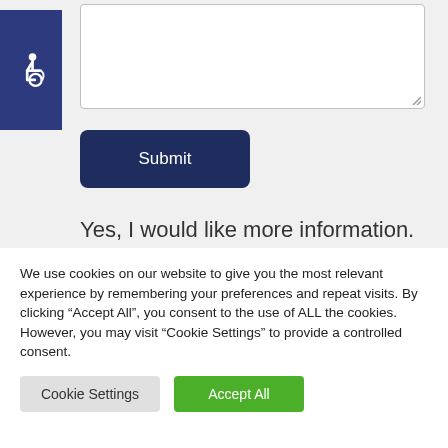[Figure (illustration): Accessibility icon - wheelchair symbol in white on dark blue square background]
Yes, I would like more information. Please contact me about my real estate needs.
We use cookies on our website to give you the most relevant experience by remembering your preferences and repeat visits. By clicking “Accept All”, you consent to the use of ALL the cookies. However, you may visit “Cookie Settings” to provide a controlled consent.
Cookie Settings
Accept All